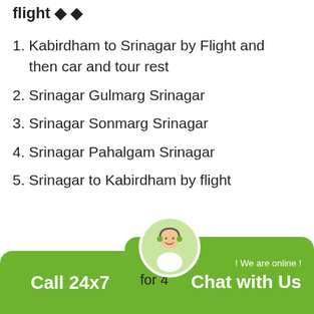flight ◆ ◆
1. Kabirdham to Srinagar by Flight and then car and tour rest
2. Srinagar Gulmarg Srinagar
3. Srinagar Sonmarg Srinagar
4. Srinagar Pahalgam Srinagar
5. Srinagar to Kabirdham by flight
If you want only s...for 4...ir